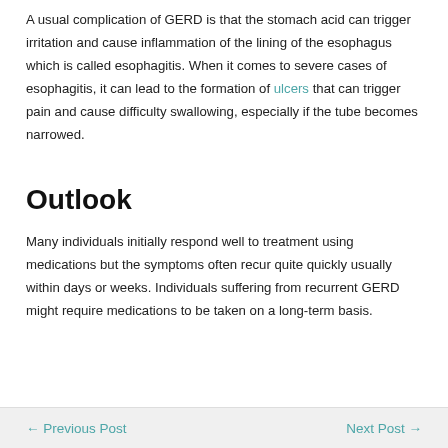A usual complication of GERD is that the stomach acid can trigger irritation and cause inflammation of the lining of the esophagus which is called esophagitis. When it comes to severe cases of esophagitis, it can lead to the formation of ulcers that can trigger pain and cause difficulty swallowing, especially if the tube becomes narrowed.
Outlook
Many individuals initially respond well to treatment using medications but the symptoms often recur quite quickly usually within days or weeks. Individuals suffering from recurrent GERD might require medications to be taken on a long-term basis.
← Previous Post    Next Post →